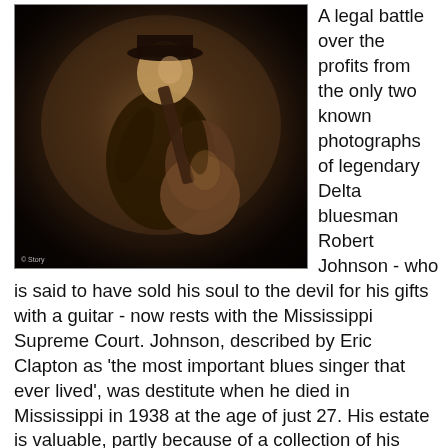[Figure (photo): Black and white sepia-toned photograph of Robert Johnson, a blues musician, playing guitar. The image shows him with a guitar, taken at Hooks Brothers Studios in Memphis. A small copyright credit appears at the bottom left of the photo.]
A legal battle over the profits from the only two known photographs of legendary Delta bluesman Robert Johnson - who is said to have sold his soul to the devil for his gifts with a guitar - now rests with the Mississippi Supreme Court. Johnson, described by Eric Clapton as 'the most important blues singer that ever lived', was destitute when he died in Mississippi in 1938 at the age of just 27. His estate is valuable, partly because of a collection of his recordings won a Grammy in 1990 (Robert Johnson: The Complete Recordings, the two-CD boxed set issued by Columbia Records - pictured) and family members and other associates have been locked in a legal dispute for 25 years over who owns the only two photos of the blues legend. One photo is a studio portrait taken of the Mississippi bluesman by Hooks Brothers Studios in Memphis (pictured); the other is a 'photo booth self-portrait,' which was taken by Johnson